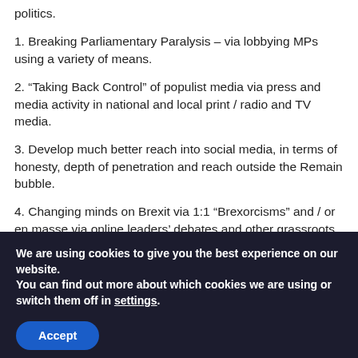politics.
1. Breaking Parliamentary Paralysis – via lobbying MPs using a variety of means.
2. “Taking Back Control” of populist media via press and media activity in national and local print / radio and TV media.
3. Develop much better reach into social media, in terms of honesty, depth of penetration and reach outside the Remain bubble.
4. Changing minds on Brexit via 1:1 “Brexorcisms” and / or en masse via online leaders’ debates and other grassroots strategies.
We are using cookies to give you the best experience on our website.
You can find out more about which cookies we are using or switch them off in settings.